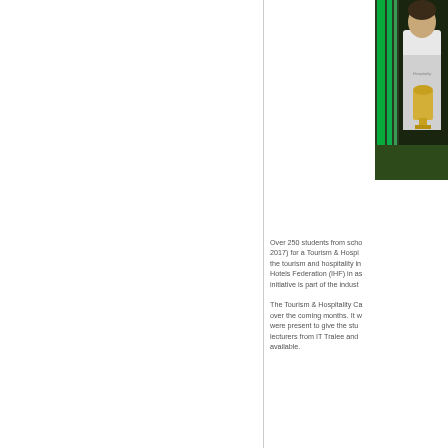[Figure (photo): A person holding a trophy or award, standing on grass with green glowing tubes in the background, photographed at an event.]
Over 250 students from schools (2017) for a Tourism & Hospitality career in the tourism and hospitality industry. Hotels Federation (IHF) in association, initiative is part of the industry.
The Tourism & Hospitality Campus over the coming months. It were present to give the students lecturers from IT Tralee and available.